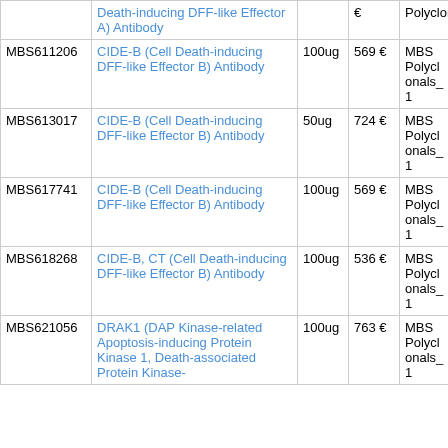| ID | Name | Qty | Price | Source | Species |
| --- | --- | --- | --- | --- | --- |
|  | Death-inducing DFF-like Effector A) Antibody |  | € | Polyclonals_1 |  |
| MBS611206 | CIDE-B (Cell Death-inducing DFF-like Effector B) Antibody | 100ug | 569 € | MBS Polyclonals_1 | human |
| MBS613017 | CIDE-B (Cell Death-inducing DFF-like Effector B) Antibody | 50ug | 724 € | MBS Polyclonals_1 | human |
| MBS617741 | CIDE-B (Cell Death-inducing DFF-like Effector B) Antibody | 100ug | 569 € | MBS Polyclonals_1 | human |
| MBS618268 | CIDE-B, CT (Cell Death-inducing DFF-like Effector B) Antibody | 100ug | 536 € | MBS Polyclonals_1 | human |
| MBS621056 | DRAK1 (DAP Kinase-related Apoptosis-inducing Protein Kinase 1, Death-associated Protein Kinase- | 100ug | 763 € | MBS Polyclonals_1 | human |